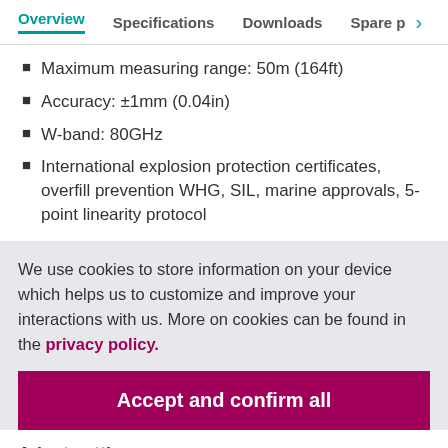Overview | Specifications | Downloads | Spare p >
Maximum measuring range: 50m (164ft)
Accuracy: ±1mm (0.04in)
W-band: 80GHz
International explosion protection certificates, overfill prevention WHG, SIL, marine approvals, 5-point linearity protocol
We use cookies to store information on your device which helps us to customize and improve your interactions with us. More on cookies can be found in the privacy policy.
Accept and confirm all
Adapt settings